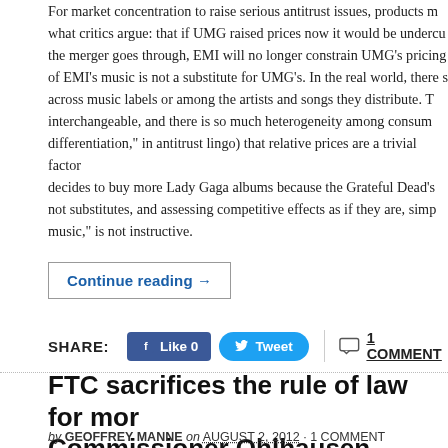For market concentration to raise serious antitrust issues, products must be substitutes — exactly what critics argue: that if UMG raised prices now it would be undercut by EMI, but if the merger goes through, EMI will no longer constrain UMG's pricing because buyers of EMI's music is not a substitute for UMG's. In the real world, there is so little substitutability across music labels or among the artists and songs they distribute. The songs are barely interchangeable, and there is so much heterogeneity among consumers ("product differentiation," in antitrust lingo) that relative prices are a trivial factor. No one decides to buy more Lady Gaga albums because the Grateful Dead's albums cost less. They're not substitutes, and assessing competitive effects as if they are, simply because both make music," is not instructive.
Continue reading →
SHARE: Like 0 Tweet 1 COMMENT
FTC sacrifices the rule of law for mor... Commissioner Ohlhausen wisely diss...
by GEOFFREY MANNE on AUGUST 2, 2012 · 1 COMMENT